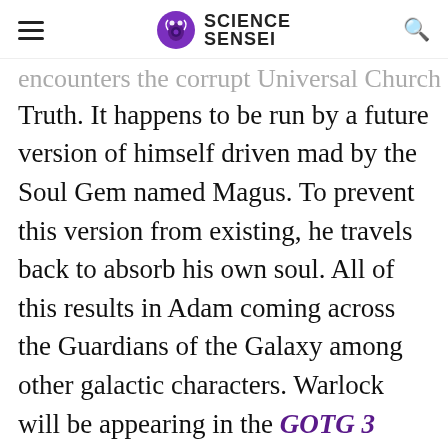SCIENCE SENSEI
encounters the corrupt Universal Church of Truth. It happens to be run by a future version of himself driven mad by the Soul Gem named Magus. To prevent this version from existing, he travels back to absorb his own soul. All of this results in Adam coming across the Guardians of the Galaxy among other galactic characters. Warlock will be appearing in the GOTG 3 film, making him
Advertisement
[Figure (screenshot): Ad banner for Rollic game - They Are Coming! with Download button]